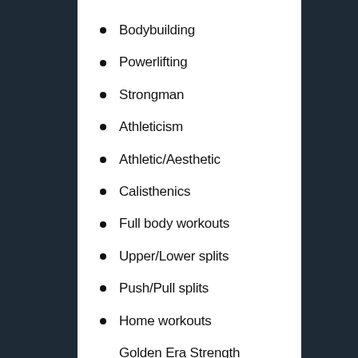Bodybuilding
Powerlifting
Strongman
Athleticism
Athletic/Aesthetic
Calisthenics
Full body workouts
Upper/Lower splits
Push/Pull splits
Home workouts
Golden Era Strength Programs
An Illustrated Guide...